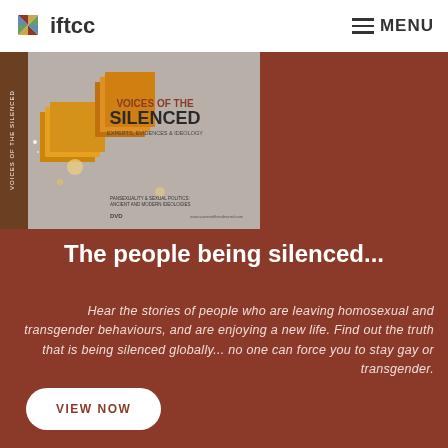iftcc | MENU
[Figure (photo): DVD cover for 'Voices of the Silenced: Experts, Evidences & Ideology' with subtitle 'Pansexuality & Sexual Politics: Ancient and Modern Ideologies', showing gold/amber geometric shapes on a grey background with DVD logo and www.voicesofthesilenced.com]
The people being silenced...
Hear the stories of people who are leaving homosexual and transgender behaviours, and are enjoying a new life. Find out the truth that is being silenced globally... no one can force you to stay gay or transgender.
VIEW NOW